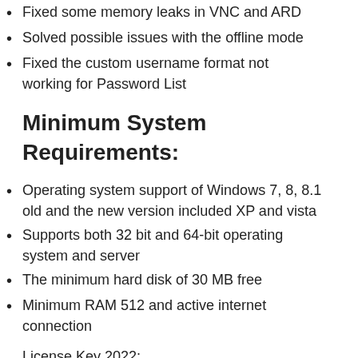Fixed some memory leaks in VNC and ARD
Solved possible issues with the offline mode
Fixed the custom username format not working for Password List
Minimum System Requirements:
Operating system support of Windows 7, 8, 8.1 old and the new version included XP and vista
Supports both 32 bit and 64-bit operating system and server
The minimum hard disk of 30 MB free
Minimum RAM 512 and active internet connection
License Key 2022:
DSBSDR-YRGBC-RUYGFNE-REFUND